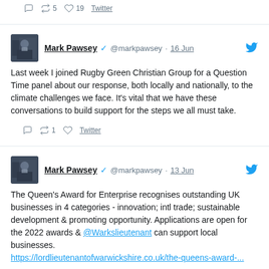Reply Retweet 5 Like 19 Twitter
Mark Pawsey @markpawsey · 16 Jun
Last week I joined Rugby Green Christian Group for a Question Time panel about our response, both locally and nationally, to the climate challenges we face. It's vital that we have these conversations to build support for the steps we all must take.
Reply Retweet 1 Like Twitter
Mark Pawsey @markpawsey · 13 Jun
The Queen's Award for Enterprise recognises outstanding UK businesses in 4 categories - innovation; intl trade; sustainable development & promoting opportunity. Applications are open for the 2022 awards & @Warkslieutenant can support local businesses. https://lordlieutenantofwarwickshire.co.uk/the-queens-award-...
Reply Retweet Like Twitter